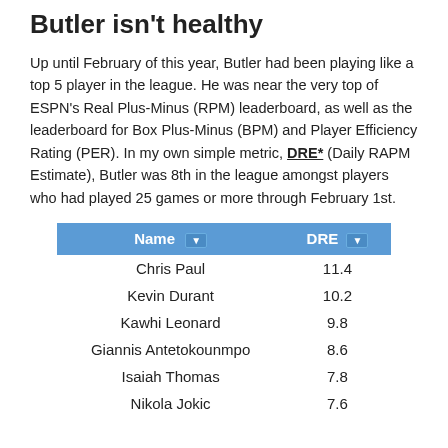Butler isn't healthy
Up until February of this year, Butler had been playing like a top 5 player in the league. He was near the very top of ESPN's Real Plus-Minus (RPM) leaderboard, as well as the leaderboard for Box Plus-Minus (BPM) and Player Efficiency Rating (PER). In my own simple metric, DRE* (Daily RAPM Estimate), Butler was 8th in the league amongst players who had played 25 games or more through February 1st.
| Name | DRE |
| --- | --- |
| Chris Paul | 11.4 |
| Kevin Durant | 10.2 |
| Kawhi Leonard | 9.8 |
| Giannis Antetokounmpo | 8.6 |
| Isaiah Thomas | 7.8 |
| Nikola Jokic | 7.6 |